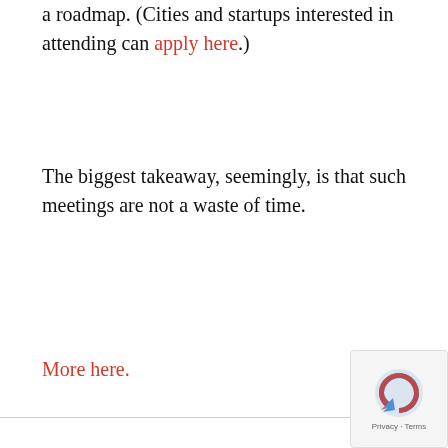a roadmap. (Cities and startups interested in attending can apply here.)
The biggest takeaway, seemingly, is that such meetings are not a waste of time.
More here.
Privacy · Terms